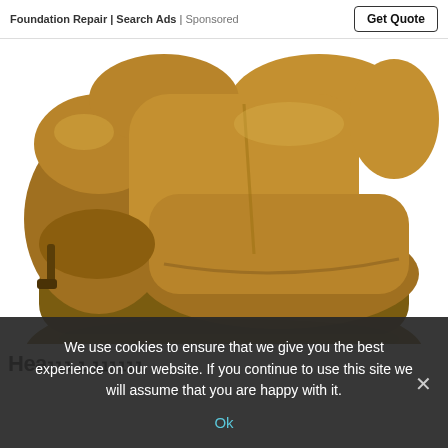Foundation Repair | Search Ads | Sponsored
Get Quote
[Figure (photo): Brown/tan upholstered recliner armchair viewed from a slight angle, showing padded armrest, seat, and back cushions with suede-like fabric texture.]
We use cookies to ensure that we give you the best experience on our website. If you continue to use this site we will assume that you are happy with it.
Ok